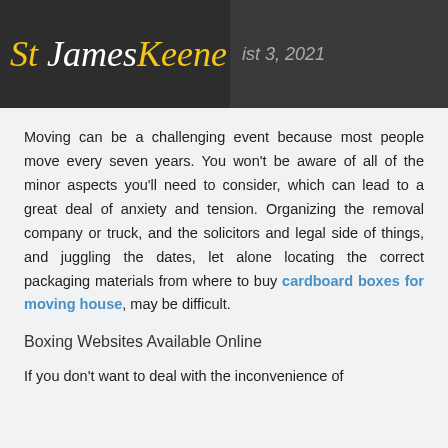St James Keene — August 3, 2021
Moving can be a challenging event because most people move every seven years. You won't be aware of all of the minor aspects you'll need to consider, which can lead to a great deal of anxiety and tension. Organizing the removal company or truck, and the solicitors and legal side of things, and juggling the dates, let alone locating the correct packaging materials from where to buy cardboard boxes for moving house, may be difficult.
Boxing Websites Available Online
If you don't want to deal with the inconvenience of